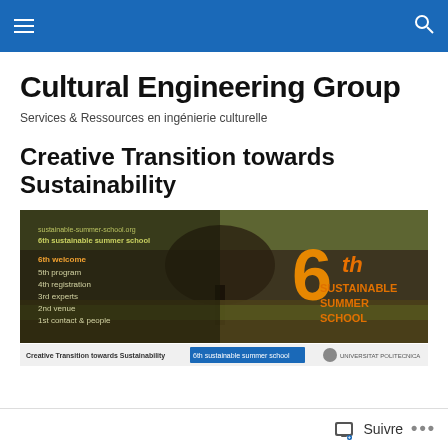Cultural Engineering Group – navigation bar
Cultural Engineering Group
Services & Ressources en ingénierie culturelle
Creative Transition towards Sustainability
[Figure (screenshot): Banner image for the 6th Sustainable Summer School showing a tree in a field with navigation menu items: sustainable-summer-school.org, 6th sustainable summer school, 6th welcome, 5th program, 4th registration, 3rd experts, 2nd venue, 1st contact & people. Large orange text reads '6th SUSTAINABLE SUMMER SCHOOL'.]
[Figure (screenshot): Thumbnail strip showing Creative Transition towards Sustainability, 6th sustainable summer school link, and Universitat Politecnica logo.]
Suivre